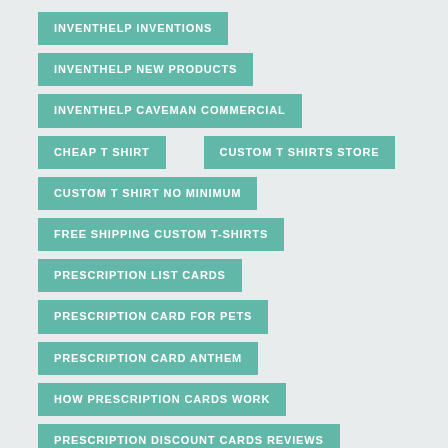INVENTHELP INVENTIONS
INVENTHELP NEW PRODUCTS
INVENTHELP CAVEMAN COMMERCIAL
CHEAP T SHIRT
CUSTOM T SHIRTS STORE
CUSTOM T SHIRT NO MINIMUM
FREE SHIPPING CUSTOM T-SHIRTS
PRESCRIPTION LIST CARDS
PRESCRIPTION CARD FOR PETS
PRESCRIPTION CARD ANTHEM
HOW PRESCRIPTION CARDS WORK
PRESCRIPTION DISCOUNT CARDS REVIEWS
PRESCRIPTION GIFT CARD COUPONS
BEST PRESCRIPTION SAVINGS CARDS